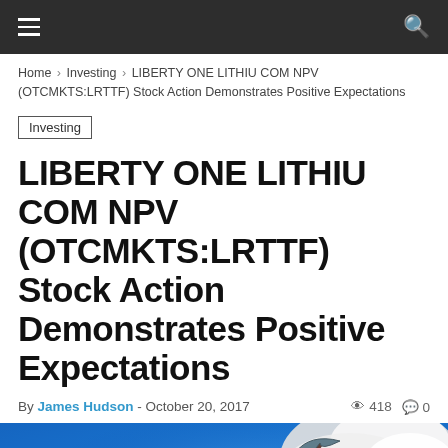Navigation bar with hamburger menu and search icon
Home > Investing > LIBERTY ONE LITHIU COM NPV (OTCMKTS:LRTTF) Stock Action Demonstrates Positive Expectations
Investing
LIBERTY ONE LITHIU COM NPV (OTCMKTS:LRTTF) Stock Action Demonstrates Positive Expectations
By James Hudson - October 20, 2017  418  0
[Figure (photo): Mining pickaxe against blue background with white mineral/rock material, suggesting lithium mining imagery]